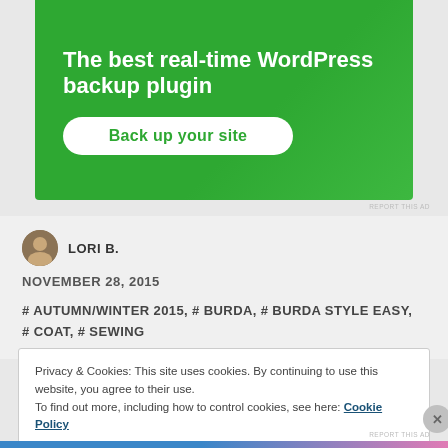[Figure (illustration): Green advertisement banner for WordPress backup plugin with white bold text 'The best real-time WordPress backup plugin' and a white rounded button 'Back up your site']
REPORT THIS AD
LORI B.
NOVEMBER 28, 2015
# AUTUMN/WINTER 2015, # BURDA, # BURDA STYLE EASY, # COAT, # SEWING
Privacy & Cookies: This site uses cookies. By continuing to use this website, you agree to their use.
To find out more, including how to control cookies, see here: Cookie Policy
Close and accept